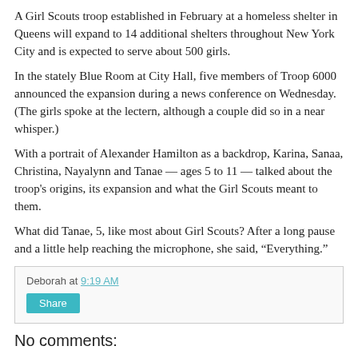A Girl Scouts troop established in February at a homeless shelter in Queens will expand to 14 additional shelters throughout New York City and is expected to serve about 500 girls.
In the stately Blue Room at City Hall, five members of Troop 6000 announced the expansion during a news conference on Wednesday. (The girls spoke at the lectern, although a couple did so in a near whisper.)
With a portrait of Alexander Hamilton as a backdrop, Karina, Sanaa, Christina, Nayalynn and Tanae — ages 5 to 11 — talked about the troop's origins, its expansion and what the Girl Scouts meant to them.
What did Tanae, 5, like most about Girl Scouts? After a long pause and a little help reaching the microphone, she said, “Everything.”
Deborah at 9:19 AM
Share
No comments: